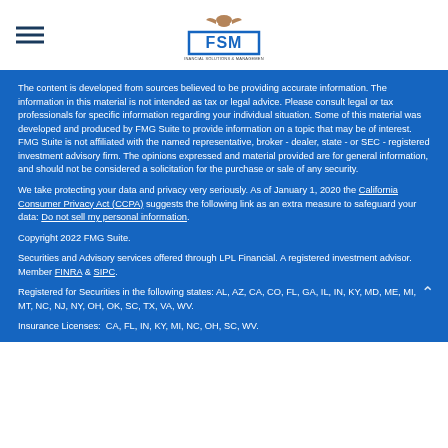[Figure (logo): FSM Financial Solutions & Management logo with eagle graphic above, blue border box with FSM text, and subtitle text below]
The content is developed from sources believed to be providing accurate information. The information in this material is not intended as tax or legal advice. Please consult legal or tax professionals for specific information regarding your individual situation. Some of this material was developed and produced by FMG Suite to provide information on a topic that may be of interest. FMG Suite is not affiliated with the named representative, broker - dealer, state - or SEC - registered investment advisory firm. The opinions expressed and material provided are for general information, and should not be considered a solicitation for the purchase or sale of any security.
We take protecting your data and privacy very seriously. As of January 1, 2020 the California Consumer Privacy Act (CCPA) suggests the following link as an extra measure to safeguard your data: Do not sell my personal information.
Copyright 2022 FMG Suite.
Securities and Advisory services offered through LPL Financial. A registered investment advisor. Member FINRA & SIPC.
Registered for Securities in the following states: AL, AZ, CA, CO, FL, GA, IL, IN, KY, MD, ME, MI, MT, NC, NJ, NY, OH, OK, SC, TX, VA, WV.
Insurance Licenses:  CA, FL, IN, KY, MI, NC, OH, SC, WV.